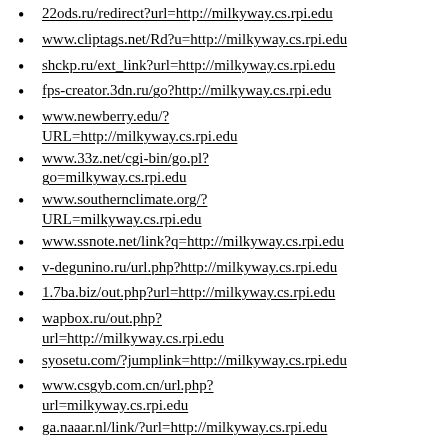22ods.ru/redirect?url=http://milkyway.cs.rpi.edu
www.cliptags.net/Rd?u=http://milkyway.cs.rpi.edu
shckp.ru/ext_link?url=http://milkyway.cs.rpi.edu
fps-creator.3dn.ru/go?http://milkyway.cs.rpi.edu
www.newberry.edu/?URL=http://milkyway.cs.rpi.edu
www.33z.net/cgi-bin/go.pl?go=milkyway.cs.rpi.edu
www.southernclimate.org/?URL=milkyway.cs.rpi.edu
www.ssnote.net/link?q=http://milkyway.cs.rpi.edu
v-degunino.ru/url.php?http://milkyway.cs.rpi.edu
1.7ba.biz/out.php?url=http://milkyway.cs.rpi.edu
wapbox.ru/out.php?url=http://milkyway.cs.rpi.edu
syosetu.com/?jumplink=http://milkyway.cs.rpi.edu
www.csgyb.com.cn/url.php?url=milkyway.cs.rpi.edu
ga.naaar.nl/link/?url=http://milkyway.cs.rpi.edu